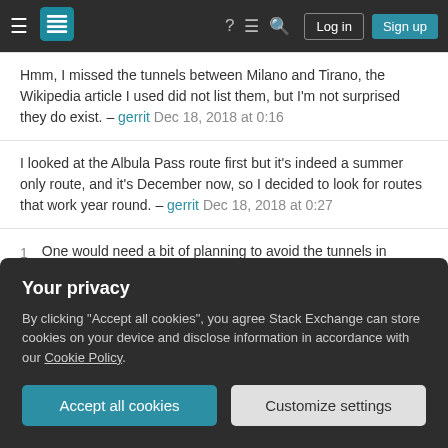Stack Exchange navigation bar with hamburger menu, logo, help, chat, search icons, Log in and Sign up buttons
Hmm, I missed the tunnels between Milano and Tirano, the Wikipedia article I used did not list them, but I'm not surprised they do exist. – gerrit Dec 18, 2018 at 0:16
I looked at the Albula Pass route first but it's indeed a summer only route, and it's December now, so I decided to look for routes that work year round. – gerrit Dec 18, 2018 at 0:27
1 One would need a bit of planning to avoid the tunnels in central Milan. Arriving from the south, the best plan is probably to leave the train at Milano Lambrate and take one of the regional services to Milano Greco
Your privacy
By clicking "Accept all cookies", you agree Stack Exchange can store cookies on your device and disclose information in accordance with our Cookie Policy.
Accept all cookies   Customize settings
important town between the two cities) will pass through the Oberstaufen tunnel (160 m according to